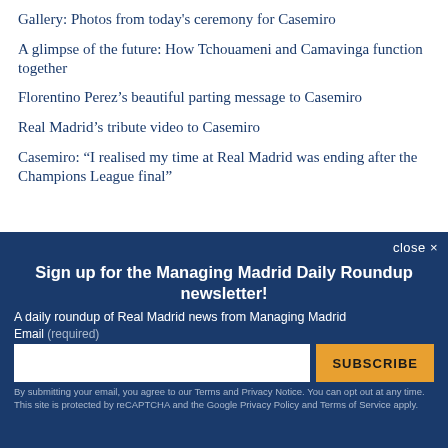Gallery: Photos from today's ceremony for Casemiro
A glimpse of the future: How Tchouameni and Camavinga function together
Florentino Perez’s beautiful parting message to Casemiro
Real Madrid’s tribute video to Casemiro
Casemiro: “I realised my time at Real Madrid was ending after the Champions League final”
close ×
Sign up for the Managing Madrid Daily Roundup newsletter!
A daily roundup of Real Madrid news from Managing Madrid
Email (required)
By submitting your email, you agree to our Terms and Privacy Notice. You can opt out at any time. This site is protected by reCAPTCHA and the Google Privacy Policy and Terms of Service apply.